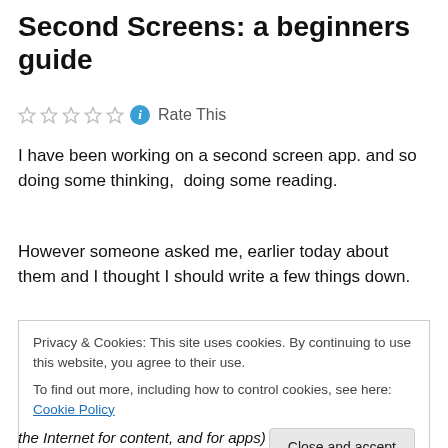Second Screens: a beginners guide
☆☆☆☆☆ ℹ Rate This
I have been working on a second screen app. and so doing some thinking,  doing some reading.
However someone asked me, earlier today about them and I thought I should write a few things down.
Privacy & Cookies: This site uses cookies. By continuing to use this website, you agree to their use.
To find out more, including how to control cookies, see here: Cookie Policy
[Close and accept]
the Internet for content, and for apps)